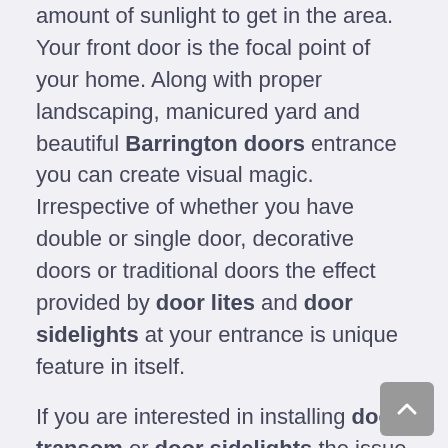amount of sunlight to get in the area. Your front door is the focal point of your home. Along with proper landscaping, manicured yard and beautiful Barrington doors entrance you can create visual magic. Irrespective of whether you have double or single door, decorative doors or traditional doors the effect provided by door lites and door sidelights at your entrance is unique feature in itself.
If you are interested in installing door transom or door sidelights the issue of security and privacy cannot be overlooked. As you know more glass is more transparency and to add privacy to it you can utilize decorative doors with stained glass or curtains. The effect of a rectangular transom above your entrance door will permit natural sunlight and freshness into your house. MDL Doors you can find